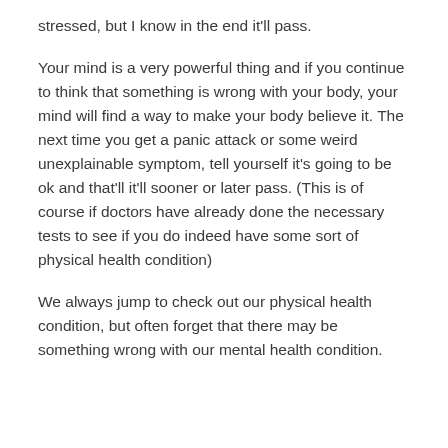stressed, but I know in the end it'll pass.
Your mind is a very powerful thing and if you continue to think that something is wrong with your body, your mind will find a way to make your body believe it. The next time you get a panic attack or some weird unexplainable symptom, tell yourself it's going to be ok and that'll it'll sooner or later pass. (This is of course if doctors have already done the necessary tests to see if you do indeed have some sort of physical health condition)
We always jump to check out our physical health condition, but often forget that there may be something wrong with our mental health condition.